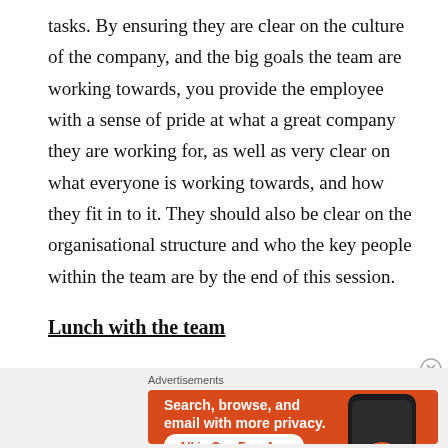tasks. By ensuring they are clear on the culture of the company, and the big goals the team are working towards, you provide the employee with a sense of pride at what a great company they are working for, as well as very clear on what everyone is working towards, and how they fit in to it. They should also be clear on the organisational structure and who the key people within the team are by the end of this session.
Lunch with the team
[Figure (other): DuckDuckGo advertisement banner with orange background showing 'Search, browse, and email with more privacy. All in One Free App' with a phone mockup and DuckDuckGo logo]